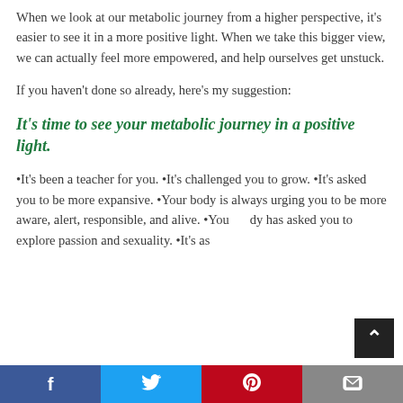When we look at our metabolic journey from a higher perspective, it's easier to see it in a more positive light. When we take this bigger view, we can actually feel more empowered, and help ourselves get unstuck.
If you haven't done so already, here's my suggestion:
It's time to see your metabolic journey in a positive light.
•It's been a teacher for you. •It's challenged you to grow. •It's asked you to be more expansive. •Your body is always urging you to be more aware, alert, responsible, and alive. •Your body has asked you to explore passion and sexuality. •It's as…